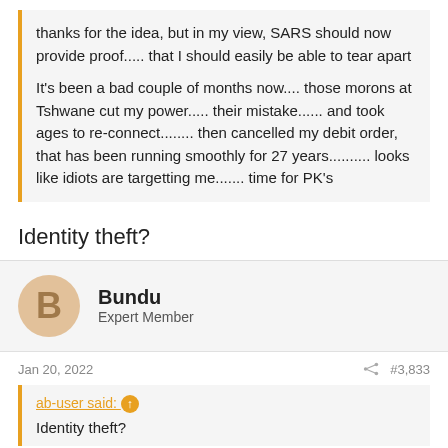thanks for the idea, but in my view, SARS should now provide proof..... that I should easily be able to tear apart

It's been a bad couple of months now.... those morons at Tshwane cut my power..... their mistake...... and took ages to re-connect........ then cancelled my debit order, that has been running smoothly for 27 years.......... looks like idiots are targetting me....... time for PK's
Identity theft?
Bundu
Expert Member
Jan 20, 2022
#3,833
ab-user said: ↑
Identity theft?
also thought of that, but my credit record is 100%......... and if ID theft, they must be able to detect the accounts that the gains